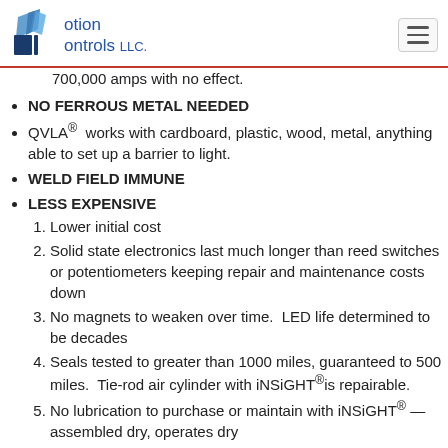Motion Controls LLC
700,000 amps with no effect.
NO FERROUS METAL NEEDED
QVLA® works with cardboard, plastic, wood, metal, anything able to set up a barrier to light.
WELD FIELD IMMUNE
LESS EXPENSIVE
1. Lower initial cost
2. Solid state electronics last much longer than reed switches or potentiometers keeping repair and maintenance costs down
3. No magnets to weaken over time.  LED life determined to be decades
4. Seals tested to greater than 1000 miles, guaranteed to 500 miles.  Tie-rod air cylinder with iNSiGHT® is repairable.
5. No lubrication to purchase or maintain with iNSiGHT® — assembled dry, operates dry